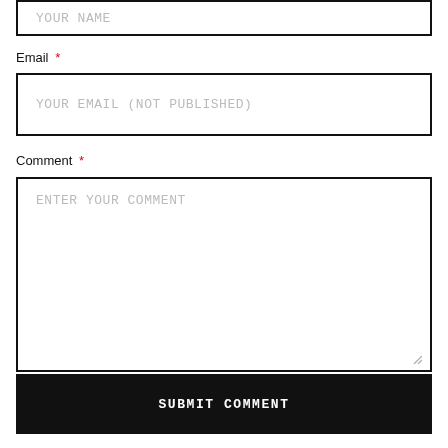YOUR NAME
Email *
YOUR EMAIL (NOT PUBLISHED)
Comment *
ENTER YOUR COMMENT
SUBMIT COMMENT